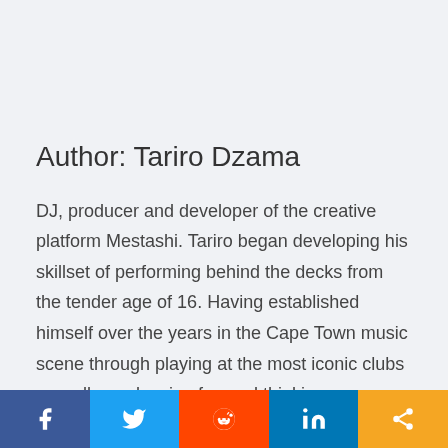Author: Tariro Dzama
DJ, producer and developer of the creative platform Mestashi. Tariro began developing his skillset of performing behind the decks from the tender age of 16. Having established himself over the years in the Cape Town music scene through playing at the most iconic clubs as well as releasing forward thinking productions independently